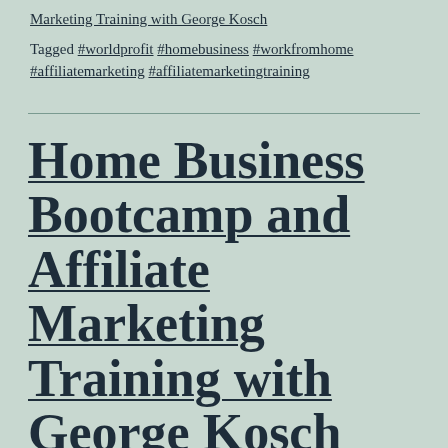Marketing Training with George Kosch
Tagged #worldprofit #homebusiness #workfromhome #affiliatemarketing #affiliatemarketingtraining
Home Business Bootcamp and Affiliate Marketing Training with George Kosch for 3 June